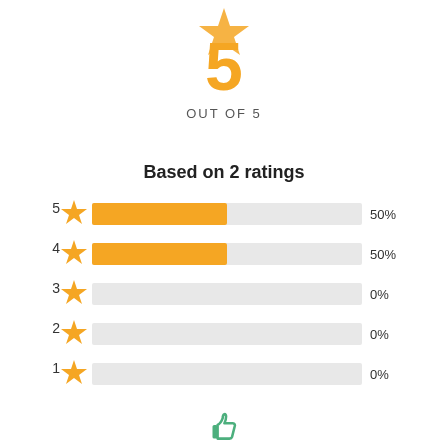[Figure (infographic): Large orange '5' with a star above it, and 'OUT OF 5' text below. Rating distribution bar chart showing 5-star=50%, 4-star=50%, 3-star=0%, 2-star=0%, 1-star=0% with orange progress bars. 'Based on 2 ratings' text. Green thumbs-up icon at bottom.]
5
OUT OF 5
Based on 2 ratings
[Figure (bar-chart): Rating distribution]